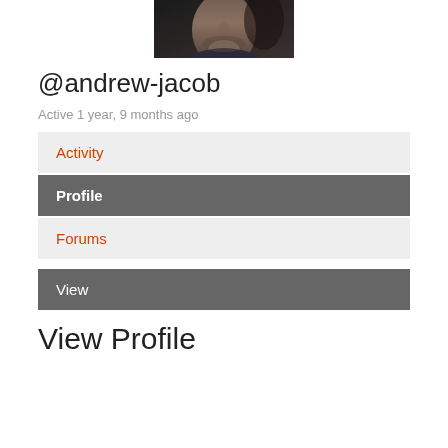[Figure (photo): Partial profile photo of a man, cropped at top showing lower face/chin area, dark background]
@andrew-jacob
Active 1 year, 9 months ago
Activity
Profile
Forums
View
View Profile